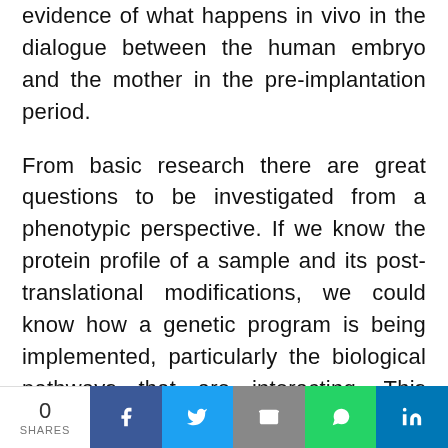evidence of what happens in vivo in the dialogue between the human embryo and the mother in the pre-implantation period.
From basic research there are great questions to be investigated from a phenotypic perspective. If we know the protein profile of a sample and its post-translational modifications, we could know how a genetic program is being implemented, particularly the biological pathways that are interacting. This approach is
0 SHARES | Facebook | Twitter | Email | WhatsApp | LinkedIn